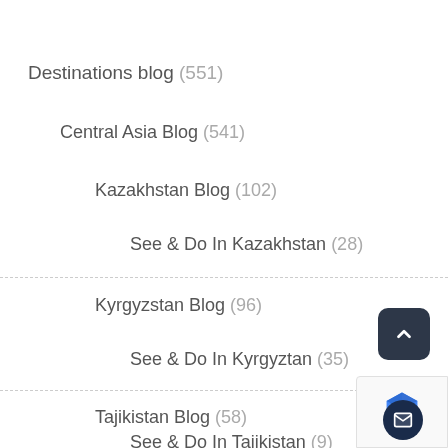Destinations blog (551)
Central Asia Blog (541)
Kazakhstan Blog (102)
See & Do In Kazakhstan (28)
Kyrgyzstan Blog (96)
See & Do In Kyrgyztan (35)
Tajikistan Blog (58)
See & Do In Tajikistan (9)